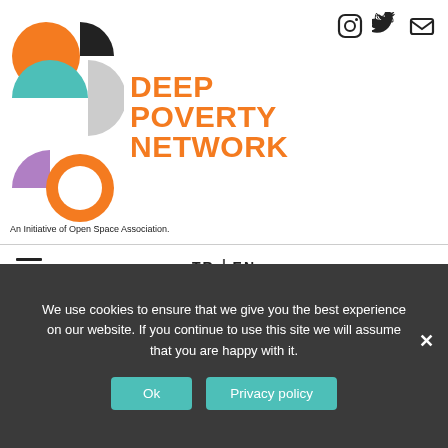[Figure (logo): Deep Poverty Network logo with geometric shapes in orange, teal, grey, black, and purple]
DEEP POVERTY NETWORK
An Initiative of Open Space Association.
[Figure (illustration): Social media icons: Instagram, Twitter, Email]
TR | EN
[Figure (photo): Photo of a building with fabric awnings hanging from its facade]
We use cookies to ensure that we give you the best experience on our website. If you continue to use this site we will assume that you are happy with it.
Ok
Privacy policy